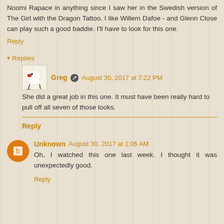Noomi Rapace in anything since I saw her in the Swedish version of The Girl with the Dragon Tattoo. I like Willem Dafoe - and Glenn Close can play such a good baddie. I'll have to look for this one.
Reply
Replies
Greg  August 30, 2017 at 7:22 PM
She did a great job in this one. It must have been really hard to pull off all seven of those looks.
Reply
Unknown  August 30, 2017 at 1:06 AM
Oh, I watched this one last week. I thought it was unexpectedly good.
Reply